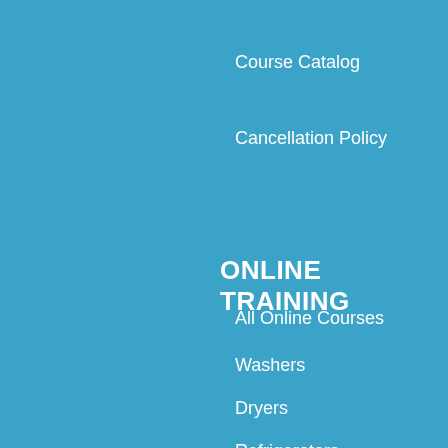Course Catalog
Cancellation Policy
ONLINE TRAINING
All Online Courses
Washers
Dryers
Refrigerators
Ranges
Dishwashers
Microwaves
Student Login